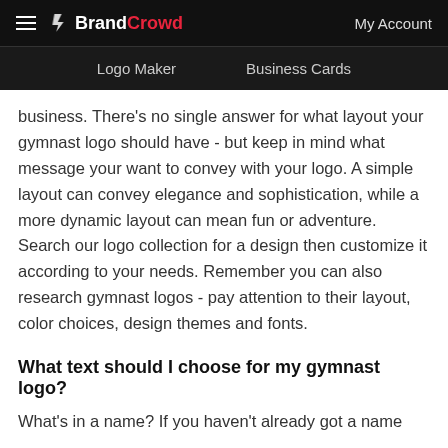BrandCrowd — Logo Maker | Business Cards | My Account
business. There's no single answer for what layout your gymnast logo should have - but keep in mind what message your want to convey with your logo. A simple layout can convey elegance and sophistication, while a more dynamic layout can mean fun or adventure. Search our logo collection for a design then customize it according to your needs. Remember you can also research gymnast logos - pay attention to their layout, color choices, design themes and fonts.
What text should I choose for my gymnast logo?
What's in a name? If you haven't already got a name